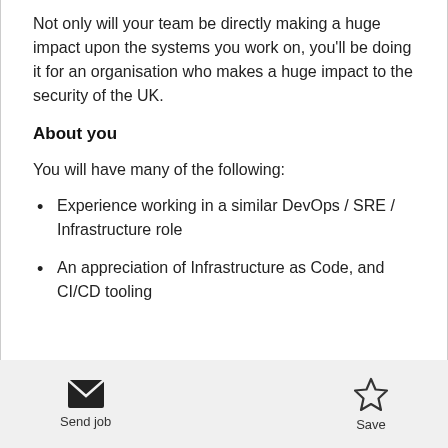Not only will your team be directly making a huge impact upon the systems you work on, you'll be doing it for an organisation who makes a huge impact to the security of the UK.
About you
You will have many of the following:
Experience working in a similar DevOps / SRE / Infrastructure role
An appreciation of Infrastructure as Code, and CI/CD tooling
Send job | Save